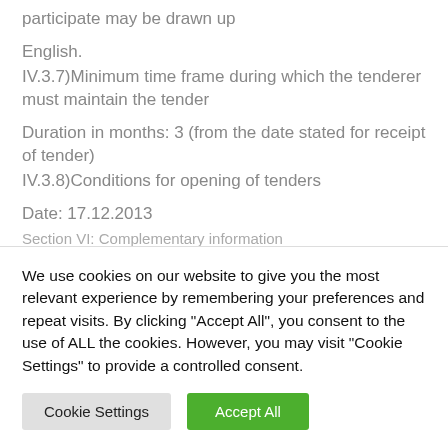participate may be drawn up
English.
IV.3.7)Minimum time frame during which the tenderer must maintain the tender
Duration in months: 3 (from the date stated for receipt of tender)
IV.3.8)Conditions for opening of tenders
Date: 17.12.2013
Section VI: Complementary information
We use cookies on our website to give you the most relevant experience by remembering your preferences and repeat visits. By clicking "Accept All", you consent to the use of ALL the cookies. However, you may visit "Cookie Settings" to provide a controlled consent.